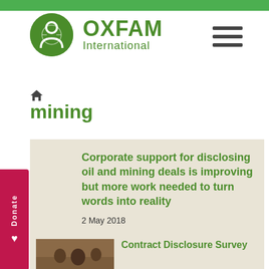[Figure (logo): Oxfam International logo with green circle containing person icon, and OXFAM International text in green]
[Figure (other): Hamburger menu icon (three horizontal lines)]
[Figure (other): Home icon breadcrumb]
mining
[Figure (other): Donate button (vertical, pink/red, with heart icon)]
Corporate support for disclosing oil and mining deals is improving but more work needed to turn words into reality
2 May 2018
Contract Disclosure Survey